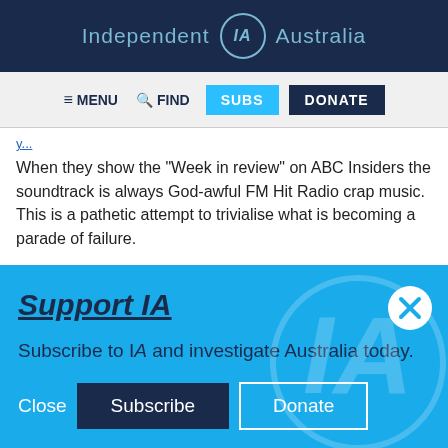Independent IA Australia
MENU  FIND  SUBS  DONATE
When they show the "Week in review" on ABC Insiders the soundtrack is always God-awful FM Hit Radio crap music. This is a pathetic attempt to trivialise what is becoming a parade of failure.
Support IA
Subscribe to IA and investigate Australia today.
Close  Subscribe  Donate
Twitter  Facebook  LinkedIn  Flipboard  Share  More